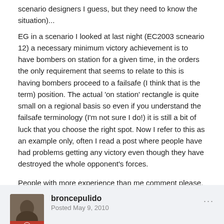scenario designers I guess, but they need to know the situation)...
EG in a scenario I looked at last night (EC2003 scneario 12) a necessary minimum victory achievement is to have bombers on station for a given time, in the orders the only requirement that seems to relate to this is having bombers proceed to a failsafe (I think that is the term) position. The actual 'on station' rectangle is quite small on a regional basis so even if you understand the failsafe terminology (I'm not sure I do!) it is still a bit of luck that you choose the right spot. Now I refer to this as an example only, often I read a post where people have had problems getting any victory even though they have destroyed the whole opponent's forces.

People with more experience than me comment please. 🙂
Quote
broncepulido
Posted May 9, 2010